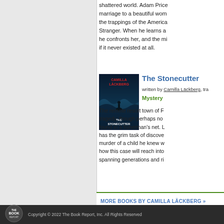shattered world. Adam Price marriage to a beautiful wom the trappings of the America Stranger. When he learns a he confronts her, and the mi if it never existed at all.
The Stonecutter
written by Camilla Läckberg, tra
Mystery
[Figure (illustration): Book cover of The Stonecutter by Camilla Läckberg showing a dark moody scene with text CAMILLA LÄCKBERG and THE STONECUTTER]
The remote resort town of F tragedy, though perhaps no found in a fisherman's net. L has the grim task of discove murder of a child he knew w how this case will reach into spanning generations and ri
MORE BOOKS BY CAMILLA LÄCKBERG »
Copyright © 2022 The Book Report, Inc. All Rights Reserved